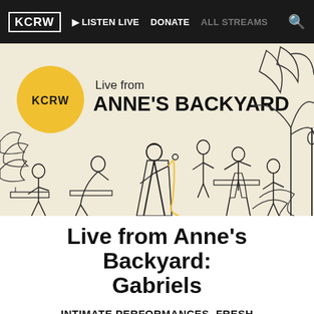KCRW | LISTEN LIVE | DONATE | ALL STREAMS
[Figure (illustration): KCRW Live from Anne's Backyard illustrated banner showing musicians performing with instruments in a backyard setting with tropical plants. A yellow KCRW logo circle is on the left with text 'Live from ANNE'S BACKYARD'.]
Live from Anne's Backyard: Gabriels
INTIMATE PERFORMANCES, FRESH SOUNDS, AND CANDID CONVERSATIONS